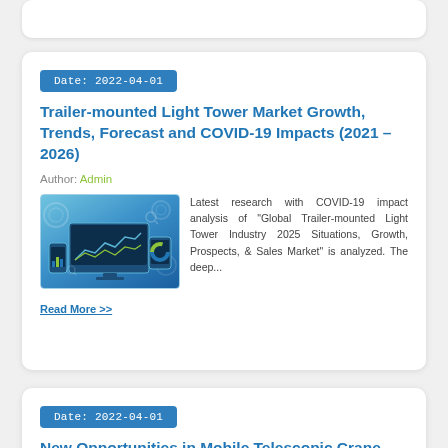Date: 2022-04-01
Trailer-mounted Light Tower Market Growth, Trends, Forecast and COVID-19 Impacts (2021 - 2026)
Author: Admin
[Figure (illustration): Illustration of digital devices (monitor, laptop, tablet, phone) showing analytics charts on a blue background]
Latest research with COVID-19 impact analysis of “Global Trailer-mounted Light Tower Industry 2025 Situations, Growth, Prospects, & Sales Market” is analyzed. The deep...
Read More >>
Date: 2022-04-01
New Opportunities in Mobile Telescopic Crane Market 2026: Growth, Segmentation...